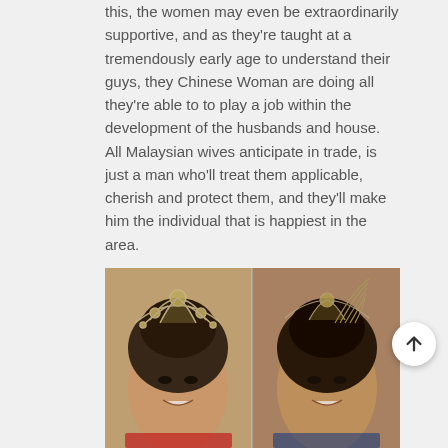this, the women may even be extraordinarily supportive, and as they're taught at a tremendously early age to understand their guys, they Chinese Woman are doing all they're able to to play a job within the development of the husbands and house. All Malaysian wives anticipate in trade, is just a man who'll treat them applicable, cherish and protect them, and they'll make him the individual that is happiest in the area.
[Figure (photo): Two women wearing ornate crowns/tiaras, likely beauty pageant contestants or winners, smiling at the camera. The photo shows their faces and upper bodies.]